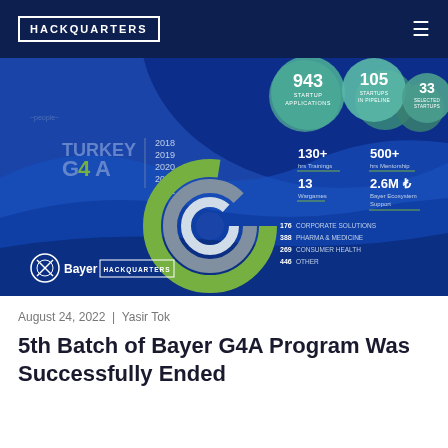HACKQUARTERS
[Figure (infographic): Turkey G4A Bayer Hackquarters program infographic showing 5 years (2018-2022). Key stats: 943 Startup Applications, 105 Startups in Pipeline, 33 Selected Startups, 130+ hrs Trainings, 500+ hrs Mentorship, 13 Wargames, 2.6M ₺ Bayer Ecosystem Support. Donut chart with segments: 176 Corporate Solutions, 388 Pharma & Medicine, 269 Consumer Health, 446 Other. Logos: Bayer and Hackquarters.]
August 24, 2022  |  Yasir Tok
5th Batch of Bayer G4A Program Was Successfully Ended